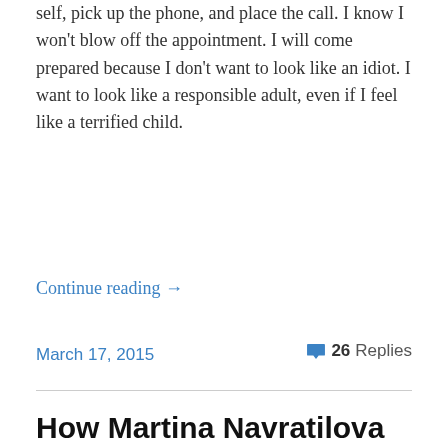self, pick up the phone, and place the call. I know I won't blow off the appointment. I will come prepared because I don't want to look like an idiot. I want to look like a responsible adult, even if I feel like a terrified child.
Continue reading →
March 17, 2015
26 Replies
How Martina Navratilova Saved my Life
[Figure (photo): A red soda can with a silver top and 'Sugar Free' text in yellow on the front, partially cropped at the bottom of the page.]